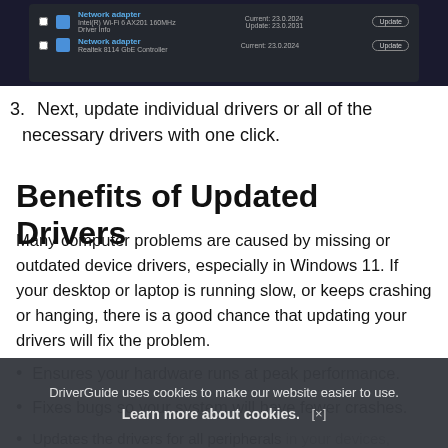[Figure (screenshot): Dark-themed driver updater software UI showing network adapter entries with Current/Update version info and Update buttons]
3. Next, update individual drivers or all of the necessary drivers with one click.
Benefits of Updated Drivers
Many computer problems are caused by missing or outdated device drivers, especially in Windows 11. If your desktop or laptop is running slow, or keeps crashing or hanging, there is a good chance that updating your drivers will fix the problem.
Ensures your hardware runs at peak performance.
Fixes bugs so your system will have fewer crashes.
Updates the drivers for all peripherals in your devices, especially with video cards and gaming devices.
DriverGuide uses cookies to make our website easier to use. Learn more about cookies. [×]